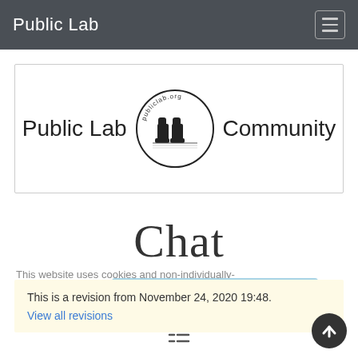Public Lab
[Figure (logo): Public Lab Community logo — circle with rubber boots illustration and text 'publiclab.org', flanked by 'Public Lab' on the left and 'Community' on the right, inside a bordered rectangle]
Chat
This website uses cookies and non-individually-identifiable tracking to help understand and improve it. Learn more
This is a revision from November 24, 2020 19:48.
View all revisions